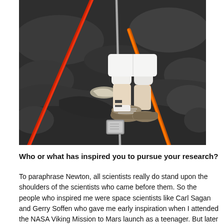[Figure (photo): A person standing on dark volcanic rock terrain. Visible from roughly the knees down, wearing white shorts and hiking boots. Multiple poles or instrument stands are visible — a red pole to the left, a grey/silver vertical rod in the center, and an orange pole. A metallic/silver instrument or container sits on the ground near the feet.]
Who or what has inspired you to pursue your research?
To paraphrase Newton, all scientists really do stand upon the shoulders of the scientists who came before them. So the people who inspired me were space scientists like Carl Sagan and Gerry Soffen who gave me early inspiration when I attended the NASA Viking Mission to Mars launch as a teenager. But later in my career it was my professors, from Jerre Johnson and Steve Clement at the College of